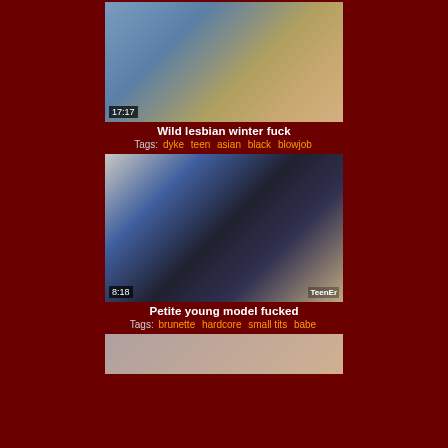[Figure (photo): Video thumbnail showing close-up of denim jacket and hands with red nails, timestamp 17:17]
Wild lesbian winter fuck
Tags: dyke  teen  asian  black  blowjob
[Figure (photo): Video thumbnail showing a couple kissing indoors, timestamp 8:18, watermark TeenEr]
Petite young model fucked
Tags: brunette  hardcore  small tits  babe
[Figure (photo): Partial video thumbnail at bottom of page]